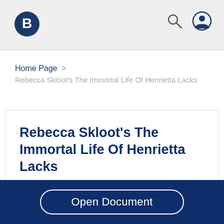Bartleby (logo) | Search | User account
Home Page > Rebecca Skloot's The Immortal Life Of Henrietta Lacks
Rebecca Skloot's The Immortal Life Of Henrietta Lacks
843 Words • 4 Pages
What factors affected the course of Henrietta...
Open Document